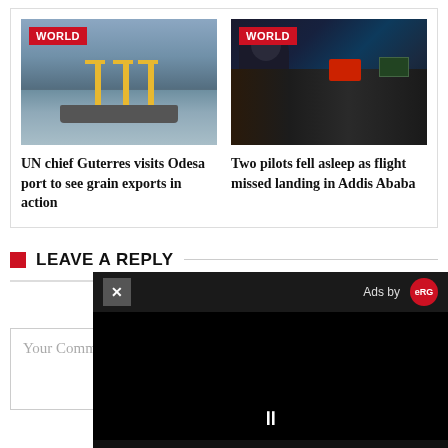[Figure (photo): Port with cranes and ship on water, with WORLD badge]
UN chief Guterres visits Odesa port to see grain exports in action
[Figure (photo): Cockpit view with pilot silhouette, instrument panel visible, with WORLD badge]
Two pilots fell asleep as flight missed landing in Addis Ababa
LEAVE A REPLY
Your email address will not be
Your Comment
[Figure (screenshot): Ad overlay with close button (X), 'Ads by' label with logo, black video area, pause button]